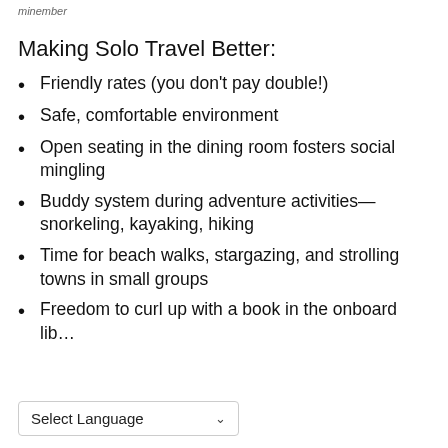minember
Making Solo Travel Better:
Friendly rates (you don't pay double!)
Safe, comfortable environment
Open seating in the dining room fosters social mingling
Buddy system during adventure activities—snorkeling, kayaking, hiking
Time for beach walks, stargazing, and strolling towns in small groups
Freedom to curl up with a book in the onboard lib…
Select Language